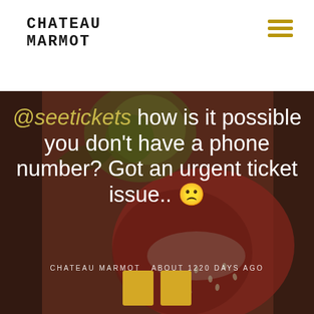CHATEAU MARMOT
[Figure (screenshot): Food/ingredient background image with blurred fruits, seeds and garnishes in muted red/green tones]
@seetickets how is it possible you don't have a phone number? Got an urgent ticket issue.. 🙁
CHATEAU MARMOT ABOUT 1220 DAYS AGO